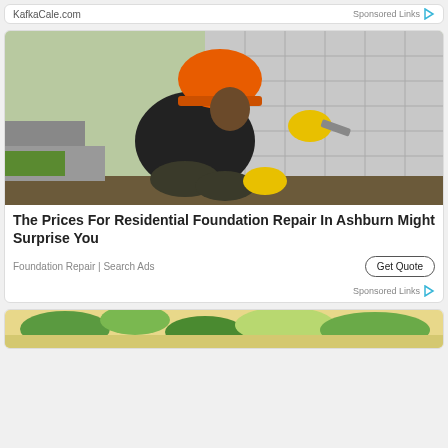KafkaCale.com
Sponsored Links
[Figure (photo): Construction worker wearing an orange hard hat and yellow gloves, kneeling and working on a concrete block wall foundation at a building site.]
The Prices For Residential Foundation Repair In Ashburn Might Surprise You
Foundation Repair | Search Ads
Sponsored Links
[Figure (photo): Partial view of food items (vegetables/salad) visible at the very bottom of the page, cropped.]